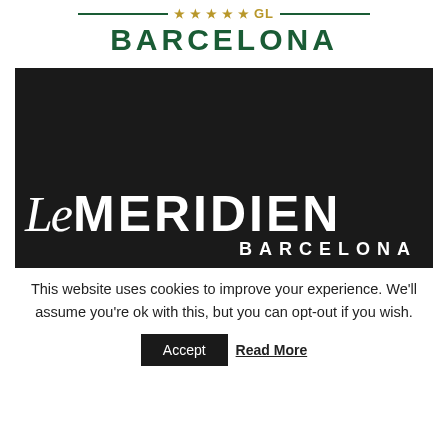[Figure (logo): GL Barcelona header with green horizontal lines, gold stars and GL text, and green bold BARCELONA text below]
[Figure (logo): Le Meridien Barcelona hotel logo on dark black background with script 'Le' and bold 'MERIDIEN' text, 'BARCELONA' text below]
This website uses cookies to improve your experience. We'll assume you're ok with this, but you can opt-out if you wish.
Accept  Read More